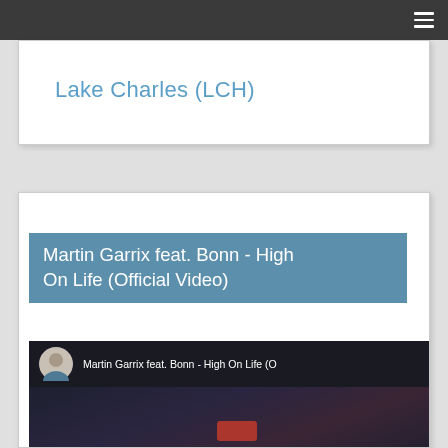Navigation bar with hamburger menu
Lake Charles (LCH)
Martin Garrix feat. Bonn - High On Life (Official Video)
[Figure (screenshot): YouTube video thumbnail for Martin Garrix feat. Bonn - High On Life (Official Video) showing channel avatar and video title in header, with dark concert/event scene below]